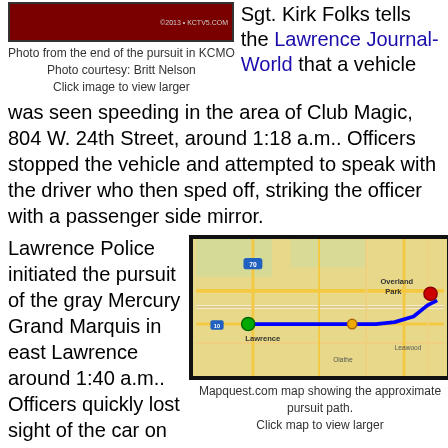[Figure (photo): Photo from the end of the pursuit in KCMO with dark red/maroon background and watermark text]
Photo from the end of the pursuit in KCMO
Photo courtesy: Britt Nelson
Click image to view larger
Sgt. Kirk Folks tells the Lawrence Journal-World that a vehicle was seen speeding in the area of Club Magic, 804 W. 24th Street, around 1:18 a.m.. Officers stopped the vehicle and attempted to speak with the driver who then sped off, striking the officer with a passenger side mirror.
Lawrence Police initiated the pursuit of the gray Mercury Grand Marquis in east Lawrence around 1:40 a.m.. Officers quickly lost sight of the car on eastbound Kansas Highway 10.
[Figure (map): Mapquest.com map showing the approximate pursuit path from Lawrence, KS to Overland Park area with a blue route line]
Mapquest.com map showing the approximate pursuit path. Click map to view larger
Eudora Police were waiting at the Church Street bridge over K-10 and picked up the pursuit as the vehicle passed...